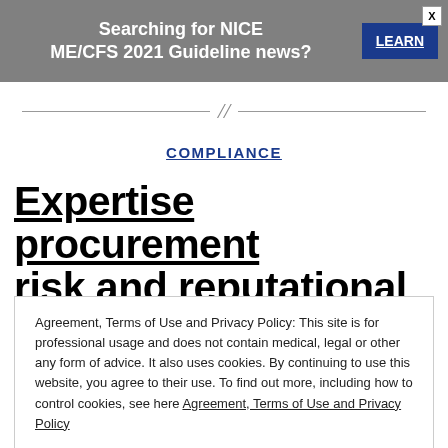[Figure (other): Gray advertisement banner: 'Searching for NICE ME/CFS 2021 Guideline news?' with a blue LEARN button and an X close button]
[Figure (other): Decorative double-slash divider with horizontal rules on each side]
COMPLIANCE
Expertise procurement risk and reputational risk
Agreement, Terms of Use and Privacy Policy: This site is for professional usage and does not contain medical, legal or other any form of advice. It also uses cookies. By continuing to use this website, you agree to their use. To find out more, including how to control cookies, see here Agreement, Terms of Use and Privacy Policy
CLOSE AND ACCEPT
distinguish between 1) the marketability or familiarity of